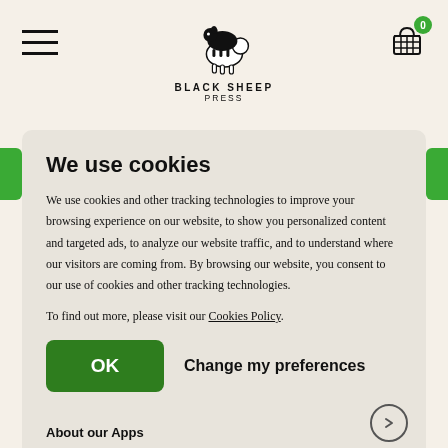[Figure (logo): Black Sheep Press logo — illustrated black sheep on white sheep, text BLACK SHEEP PRESS below]
We use cookies
We use cookies and other tracking technologies to improve your browsing experience on our website, to show you personalized content and targeted ads, to analyze our website traffic, and to understand where our visitors are coming from. By browsing our website, you consent to our use of cookies and other tracking technologies.
To find out more, please visit our Cookies Policy.
OK   Change my preferences
About our Apps